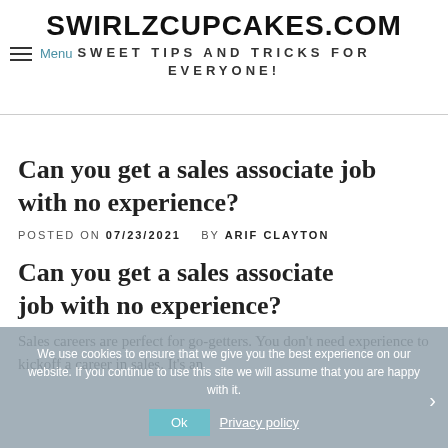SWIRLZCUPCAKES.COM
SWEET TIPS AND TRICKS FOR EVERYONE!
Can you get a sales associate job with no experience?
POSTED ON 07/23/2021   BY ARIF CLAYTON
Can you get a sales associate job with no experience?
Sales careers are perfect for go-getters. You don't need experience to kickoff a career in sales. It's an
We use cookies to ensure that we give you the best experience on our website. If you continue to use this site we will assume that you are happy with it.
Ok   Privacy policy